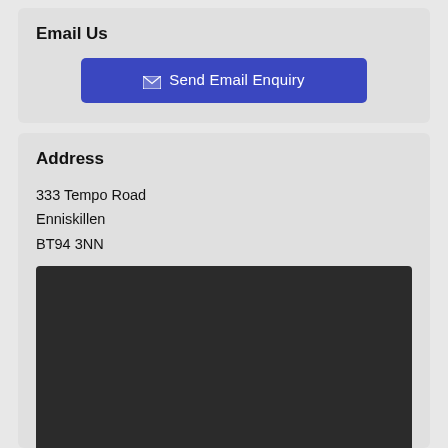Email Us
[Figure (other): Blue button labeled 'Send Email Enquiry' with envelope icon]
Address
333 Tempo Road
Enniskillen
BT94 3NN
[Figure (map): Dark map placeholder area]